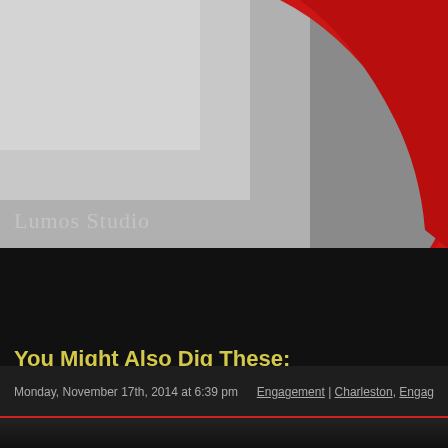[Figure (photo): Partial photo of a person wearing a red sweater/top against a grey background, with 'Lumos Studio' watermark text in lower left]
Click here to read more.
Save
You Might Also Dig These:
There is nothing else like this post in the world...or at least this blog.
Monday, November 17th, 2014 at 6:39 pm | Engagement | Charleston, Engag